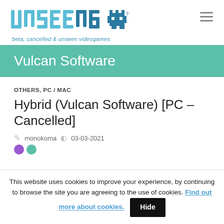[Figure (logo): Unseen64 logo with pixel art alien icon and tagline 'beta, cancelled & unseen videogames']
Vulcan Software
OTHERS, PC / MAC
Hybrid (Vulcan Software) [PC – Cancelled]
monokoma  03-03-2021
This website uses cookies to improve your experience, by continuing to browse the site you are agreeing to the use of cookies. Find out more about cookies.